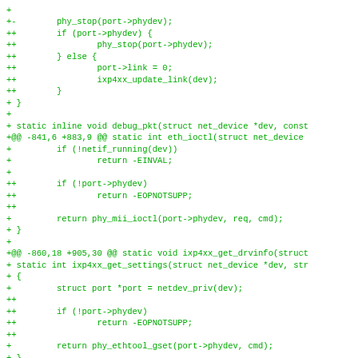[Figure (other): A code diff snippet in green monospace font on white background showing changes to Linux kernel network driver code (ixp4xx ethernet driver). Lines prefixed with +, ++, or +@@ showing additions to functions eth_ioctl and ixp4xx_get_settings related to PHY device handling.]